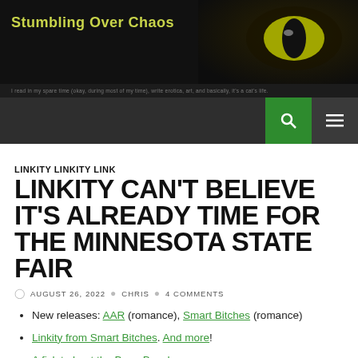Stumbling Over Chaos
LINKITY LINKITY LINK
LINKITY CAN'T BELIEVE IT'S ALREADY TIME FOR THE MINNESOTA STATE FAIR
AUGUST 26, 2022   CHRIS   4 COMMENTS
New releases: AAR (romance), Smart Bitches (romance)
Linkity from Smart Bitches. And more!
A ficlet about the Bone Beach.
On dragons in modern times.